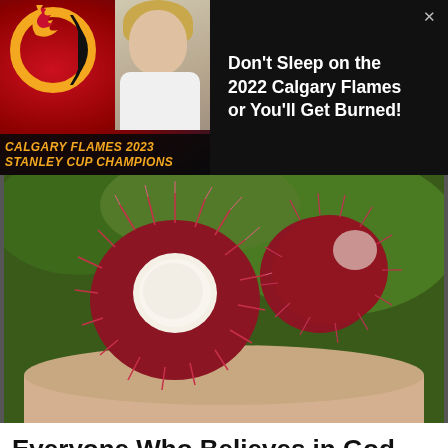[Figure (infographic): Calgary Flames 2023 Stanley Cup Champions advertisement banner with team logo, blonde woman, and red/black background]
Don't Sleep on the 2022 Calgary Flames or You'll Get Burned!
[Figure (photo): Close-up photo of a rambutan fruit being held in a hand, showing red spiky exterior and white interior flesh]
Everyone Who Believes in God Should Watch This
Exodus Effect
[Figure (illustration): Comic-style illustration of a woman's face in close-up, orange and tan tones with black ink linework]